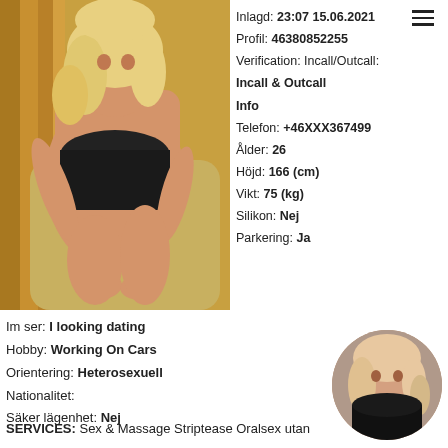[Figure (photo): Large photo of a blonde woman posing on a sofa, wearing black lingerie]
Inlagd: 23:07 15.06.2021
Profil: 46380852255
Verification: Incall/Outcall:
Incall & Outcall
Info
Telefon: +46XXX367499
Ålder: 26
Höjd: 166 (cm)
Vikt: 75 (kg)
Silikon: Nej
Parkering: Ja
Im ser: I looking dating
Hobby: Working On Cars
Orientering: Heterosexuell
Nationalitet:
Säker lägenhet: Nej
[Figure (photo): Small circular thumbnail of a woman with light hair wearing black]
SERVICES: Sex & Massage Striptease Oralsex utan